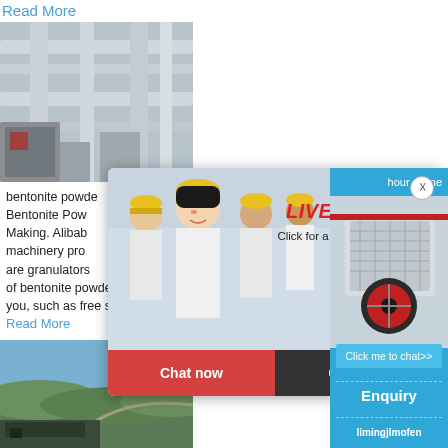Read More
[Figure (photo): Industrial pipes and machinery equipment, grey metal pipes and processing plant interior]
bentonite powder making machinery Bentonite Powder Making. Alibab machinery products are granulators of bentonite powder making machinery options to you, such as free samples.get price
Read More
[Figure (photo): Aerial landscape view of mining or quarry site with green hills and roads]
[Figure (screenshot): Live chat popup overlay with workers in hard hats, LIVE CHAT heading, Chat now and Chat later buttons]
[Figure (infographic): Right sidebar with blue background showing hour online text, crushing machine image, Click me to chat button, Enquiry section, and limingjlmofen text]